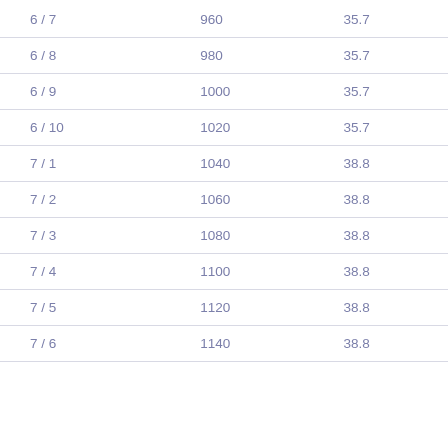| 6 / 7 | 960 | 35.7 |
| 6 / 8 | 980 | 35.7 |
| 6 / 9 | 1000 | 35.7 |
| 6 / 10 | 1020 | 35.7 |
| 7 / 1 | 1040 | 38.8 |
| 7 / 2 | 1060 | 38.8 |
| 7 / 3 | 1080 | 38.8 |
| 7 / 4 | 1100 | 38.8 |
| 7 / 5 | 1120 | 38.8 |
| 7 / 6 | 1140 | 38.8 |